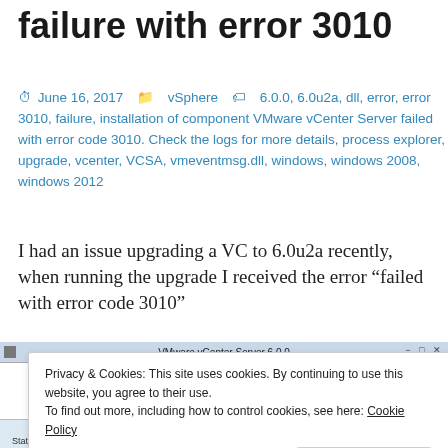failure with error 3010
June 16, 2017   vSphere   6.0.0, 6.0u2a, dll, error, error 3010, failure, installation of component VMware vCenter Server failed with error code 3010. Check the logs for more details, process explorer, upgrade, vcenter, VCSA, vmeventmsg.dll, windows, windows 2008, windows 2012
I had an issue upgrading a VC to 6.0u2a recently, when running the upgrade I received the error “failed with error code 3010”
[Figure (screenshot): Screenshot of VMware vCenter Server 6.0.0 installer window, partially visible, with a cookie consent overlay and a partially visible second screenshot at the bottom showing VMware vCenter Server status bar with 'Installing co...' text]